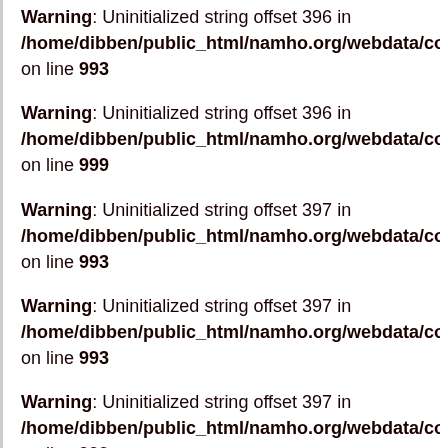Warning: Uninitialized string offset 396 in /home/dibben/public_html/namho.org/webdata/common on line 993
Warning: Uninitialized string offset 396 in /home/dibben/public_html/namho.org/webdata/common on line 999
Warning: Uninitialized string offset 397 in /home/dibben/public_html/namho.org/webdata/common on line 993
Warning: Uninitialized string offset 397 in /home/dibben/public_html/namho.org/webdata/common on line 993
Warning: Uninitialized string offset 397 in /home/dibben/public_html/namho.org/webdata/common on line 999
Warning: Uninitialized string offset 398 in /home/dibben/public_html/namho.org/webdata/common on line 993
Warning: Uninitialized string offset 398 in /home/dibben/public_html/namho.org/webdata/common